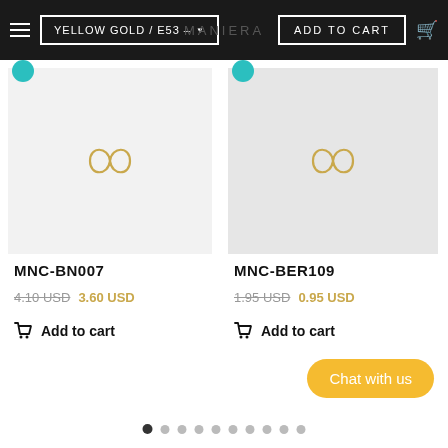YELLOW GOLD / E53 – ... | ADD TO CART
[Figure (photo): Product image with gold infinity-like logo on light grey background, item MNC-BN007]
MNC-BN007
4.10 USD  3.60 USD
Add to cart
[Figure (photo): Product image with gold infinity-like logo on grey background, item MNC-BER109]
MNC-BER109
1.95 USD  0.95 USD
Add to cart
Chat with us